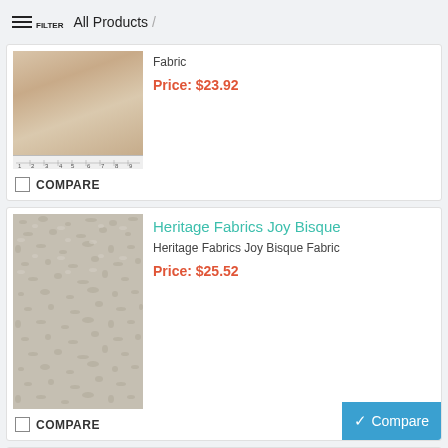FILTER  All Products /
[Figure (photo): Beige fabric swatch with ruler at bottom, partially visible]
Fabric
Price: $23.92
COMPARE
Heritage Fabrics Joy Bisque
Heritage Fabrics Joy Bisque Fabric
Price: $25.52
COMPARE
Compare
Heritage Fabrics Joy Cloud
Heritage Fabrics Joy Cloud Fabric